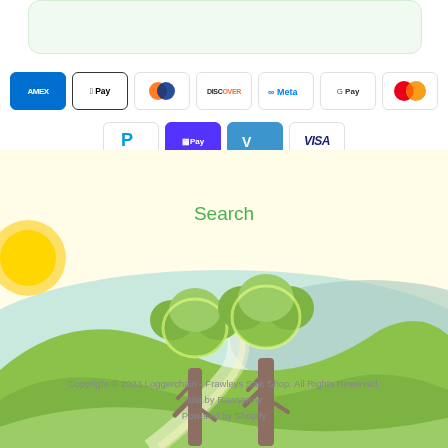[Figure (illustration): Top green rounded card area at top of page]
[Figure (illustration): Row of payment method icons: American Express, Apple Pay, Diners Club, Discover, Meta Pay, Google Pay, Mastercard]
[Figure (illustration): Row of payment method icons: PayPal, Shop Pay, Venmo, Visa]
[Figure (illustration): Illustrated landscape background with hills, sun, trees]
Search
Copyright © 2023 Loggerchain - Frawleys Saw Shop. All Rights Reserved.
Site by Rawsterne
Powered by Shopify